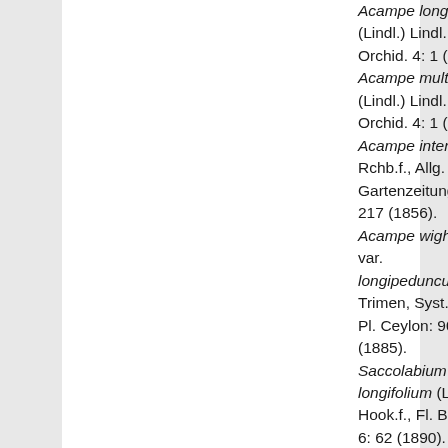Acampe longifolia (Lindl.) Lindl., Fol. Orchid. 4: 1 (1853). Acampe multiflora (Lindl.) Lindl., Fol. Orchid. 4: 1 (1853). Acampe intermedia Rchb.f., Allg. Gartenzeitung 24: 217 (1856). Acampe wightiana var. longipedunculata Trimen, Syst. Cat. Fl. Pl. Ceylon: 90 (1885). Saccolabium longifolium (Lindl.) Hook.f., Fl. Brit. India 6: 62 (1890). Gastrochilus longifolius (Lindl.) Kuntze, Revis. Gen.